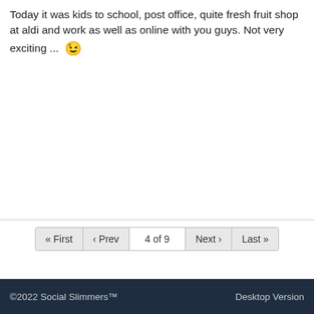Today it was kids to school, post office, quite fresh fruit shop at aldi and work as well as online with you guys. Not very exciting ... 😉
« First ‹ Prev  4 of 9  Next › Last »
©2022 Social Slimmers™  Desktop Version